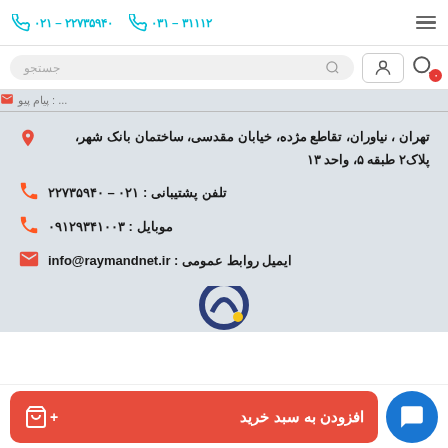۰۳۱ – ۳۱۱۱۲   ۰۲۱ – ۲۲۷۳۵۹۴۰
جستجو
تهران ، نیاوران، تقاطع مژده، خیابان مقدسی، ساختمان بانک شهر، پلاک۲ طبقه ۵، واحد ۱۳
تلفن پشتیبانی : ۰۲۱ – ۲۲۷۳۵۹۴۰
موبایل : ۰۹۱۲۹۳۴۱۰۰۳
ایمیل روابط عمومی : info@raymandnet.ir
افزودن به سبد خرید